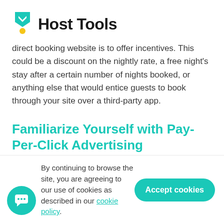Host Tools
direct booking website is to offer incentives. This could be a discount on the nightly rate, a free night's stay after a certain number of nights booked, or anything else that would entice guests to book through your site over a third-party app.
Familiarize Yourself with Pay-Per-Click Advertising
Paid advertising is a great way to reach a wider audience and generate more traffic to your site. You can use
By continuing to browse the site, you are agreeing to our use of cookies as described in our cookie policy.